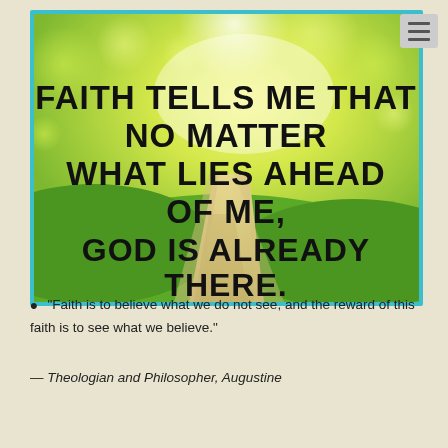[Figure (illustration): Inspirational image with a grassy path leading into a bright yellow-green bokeh background, overlaid with bold black text reading: FAITH TELLS ME THAT NO MATTER WHAT LIES AHEAD OF ME, GOD IS ALREADY THERE. The image has a teal border.]
"Faith is to believe what we do not see, and the reward of this faith is to see what we believe."
— Theologian and Philosopher, Augustine